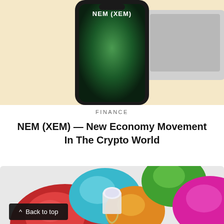[Figure (photo): Smartphone with NEM (XEM) displayed on screen, alongside a laptop, on a beige/cream background]
FINANCE
NEM (XEM) — New Economy Movement In The Crypto World
[Figure (photo): Colorful gemstones (red, teal, orange, green, pink) with a diamond ring, on a light gray background]
Back to top